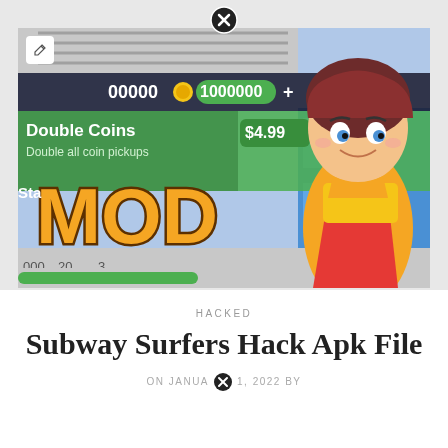[Figure (screenshot): Subway Surfers game screenshot showing MOD text overlay, character, Double Coins in-app purchase for $4.99, and coin counter showing 1000000]
HACKED
Subway Surfers Hack Apk File
ON JANUARY 1, 2022 BY